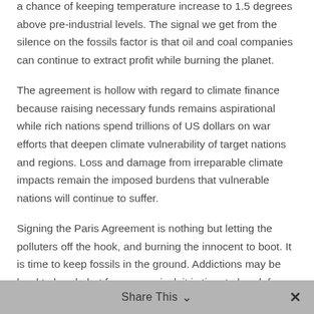a chance of keeping temperature increase to 1.5 degrees above pre-industrial levels. The signal we get from the silence on the fossils factor is that oil and coal companies can continue to extract profit while burning the planet.
The agreement is hollow with regard to climate finance because raising necessary funds remains aspirational while rich nations spend trillions of US dollars on war efforts that deepen climate vulnerability of target nations and regions. Loss and damage from irreparable climate impacts remain the imposed burdens that vulnerable nations will continue to suffer.
Signing the Paris Agreement is nothing but letting the polluters off the hook, and burning the innocent to boot. It is time to keep fossils in the ground. Addictions may be hard to break, but for our survival, it is time to break free from fossil fuels.
Share This ∨  ✕